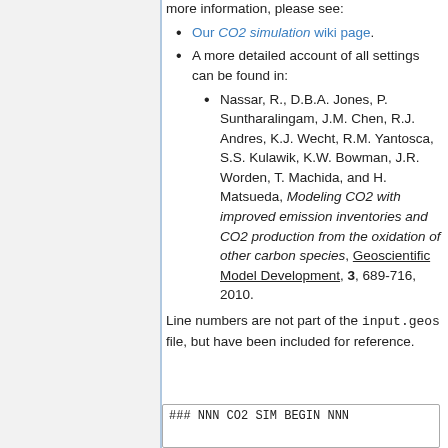more information, please see:
Our CO2 simulation wiki page.
A more detailed account of all settings can be found in:
Nassar, R., D.B.A. Jones, P. Suntharalingam, J.M. Chen, R.J. Andres, K.J. Wecht, R.M. Yantosca, S.S. Kulawik, K.W. Bowman, J.R. Worden, T. Machida, and H. Matsueda, Modeling CO2 with improved emission inventories and CO2 production from the oxidation of other carbon species, Geoscientific Model Development, 3, 689-716, 2010.
Line numbers are not part of the input.geos file, but have been included for reference.
1 ### NNN CO2 SIM BEGIN NNN